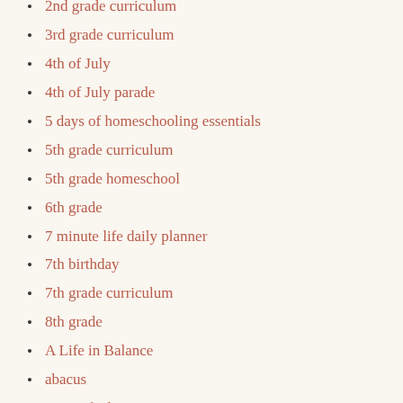2nd grade curriculum
3rd grade curriculum
4th of July
4th of July parade
5 days of homeschooling essentials
5th grade curriculum
5th grade homeschool
6th grade
7 minute life daily planner
7th birthday
7th grade curriculum
8th grade
A Life in Balance
abacus
ABC of education
Ability Develoment from Age Zero
Abisko National Park
abolitionist poster